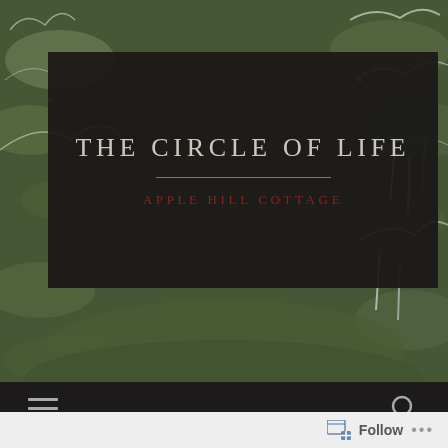[Figure (photo): Winter scene of snow and ice-covered evergreen tree branches, dark background, used as a blog header image.]
THE CIRCLE OF LIFE
APPLE HILL COTTAGE
[Figure (screenshot): Dark navigation bar with hamburger menu icon on the left and a search magnifying glass icon on the right.]
40. 13 FOR '13
Follow ...